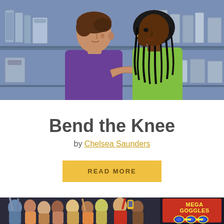[Figure (illustration): Illustration of two people standing in a store aisle with shelves of products behind them. A person in a purple shirt points a finger at a woman with braided hair wearing a green tank top. The background shows blue-tinted store shelves with various items.]
Bend the Knee
by Chelsea Saunders
READ MORE
[Figure (illustration): Illustration of a crowd scene with many people. On the right side is a sign reading 'MEGA GOGGLES' with images of goggles. A man in a red shirt is visible in the crowd. People have their hands raised.]